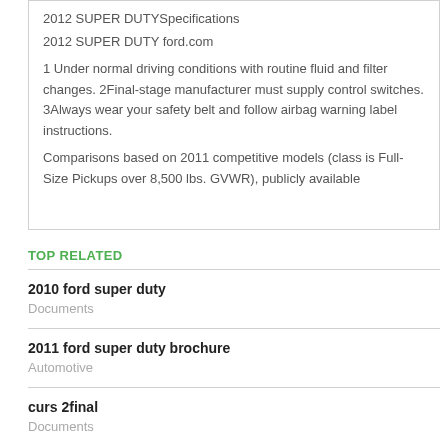2012 SUPER DUTYSpecifications
2012 SUPER DUTY ford.com
1 Under normal driving conditions with routine fluid and filter changes. 2Final-stage manufacturer must supply control switches. 3Always wear your safety belt and follow airbag warning label instructions.
Comparisons based on 2011 competitive models (class is Full-Size Pickups over 8,500 lbs. GVWR), publicly available...
TOP RELATED
2010 ford super duty
Documents
2011 ford super duty brochure
Automotive
curs 2final
Documents